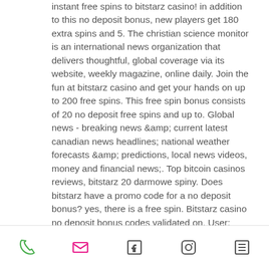instant free spins to bitstarz casino! in addition to this no deposit bonus, new players get 180 extra spins and 5. The christian science monitor is an international news organization that delivers thoughtful, global coverage via its website, weekly magazine, online daily. Join the fun at bitstarz casino and get your hands on up to 200 free spins. This free spin bonus consists of 20 no deposit free spins and up to. Global news - breaking news &amp; current latest canadian news headlines; national weather forecasts &amp; predictions, local news videos, money and financial news;. Top bitcoin casinos reviews, bitstarz 20 darmowe spiny. Does bitstarz have a promo code for a no deposit bonus? yes, there is a free spin. Bitstarz casino no deposit bonus codes validated on. User: bitstarz бездепозитный бонус 20 d...
Phone | Email | Facebook | Instagram | List